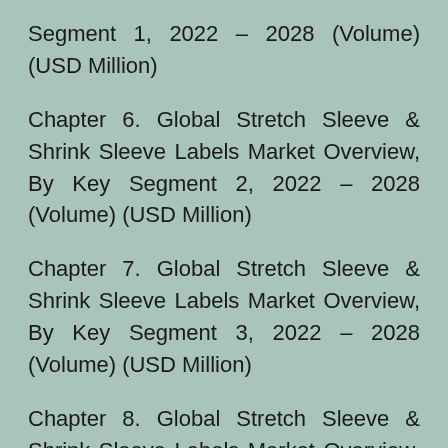Segment 1, 2022 – 2028 (Volume) (USD Million)
Chapter 6. Global Stretch Sleeve & Shrink Sleeve Labels Market Overview, By Key Segment 2, 2022 – 2028 (Volume) (USD Million)
Chapter 7. Global Stretch Sleeve & Shrink Sleeve Labels Market Overview, By Key Segment 3, 2022 – 2028 (Volume) (USD Million)
Chapter 8. Global Stretch Sleeve & Shrink Sleeve Labels Market Overview, By